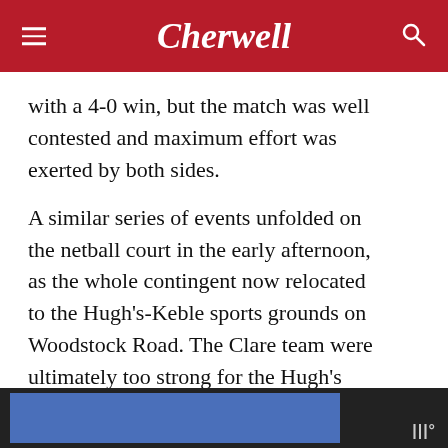Cherwell
with a 4-0 win, but the match was well contested and maximum effort was exerted by both sides.
A similar series of events unfolded on the netball court in the early afternoon, as the whole contingent now relocated to the Hugh's-Keble sports grounds on Woodstock Road. The Clare team were ultimately too strong for the Hugh's side, and they came away with another victory.
ADVERTISEMENT